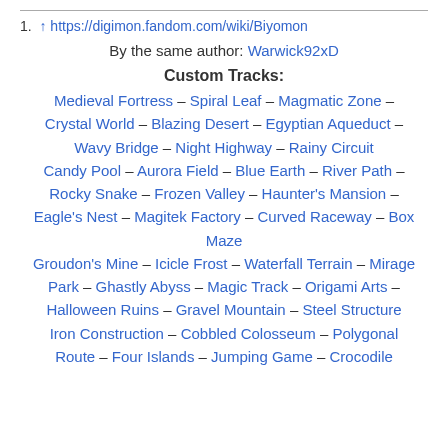1. ↑ https://digimon.fandom.com/wiki/Biyomon
By the same author: Warwick92xD
Custom Tracks:
Medieval Fortress – Spiral Leaf – Magmatic Zone – Crystal World – Blazing Desert – Egyptian Aqueduct – Wavy Bridge – Night Highway – Rainy Circuit Candy Pool – Aurora Field – Blue Earth – River Path – Rocky Snake – Frozen Valley – Haunter's Mansion – Eagle's Nest – Magitek Factory – Curved Raceway – Box Maze Groudon's Mine – Icicle Frost – Waterfall Terrain – Mirage Park – Ghastly Abyss – Magic Track – Origami Arts – Halloween Ruins – Gravel Mountain – Steel Structure Iron Construction – Cobbled Colosseum – Polygonal Route – Four Islands – Jumping Game – Crocodile